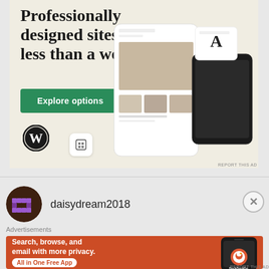[Figure (screenshot): WordPress advertisement banner with text 'Professionally designed sites in less than a week', green 'Explore options' button, WordPress logo, and mock website screenshots on the right side.]
daisydream2018
Advertisements
[Figure (screenshot): DuckDuckGo advertisement banner with orange background showing 'Search, browse, and email with more privacy. All in One Free App' with a phone mockup showing the DuckDuckGo app icon.]